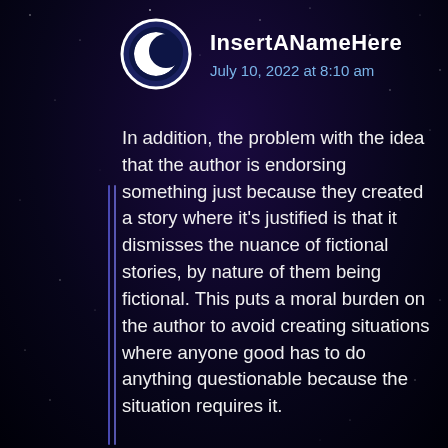[Figure (illustration): Crescent moon avatar icon, white crescent on dark blue circular background with white border]
InsertANameHere
July 10, 2022 at 8:10 am
In addition, the problem with the idea that the author is endorsing something just because they created a story where it's justified is that it dismisses the nuance of fictional stories, by nature of them being fictional. This puts a moral burden on the author to avoid creating situations where anyone good has to do anything questionable because the situation requires it.
For example, you could claim that the author of Child is endorsing...